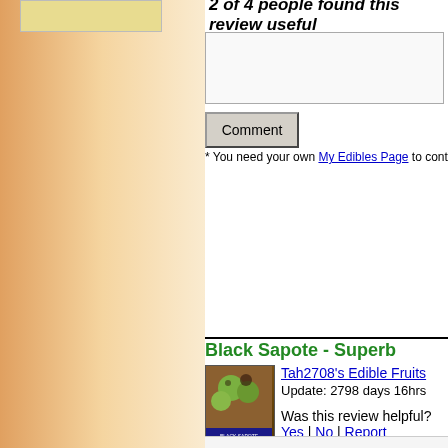2 of 4 people found this review useful
Comment
* You need your own My Edibles Page to contribute  Quick & Easy
Black Sapote - Superb
[Figure (photo): Book cover for Black Sapote / Chocolate Pudding Fruit showing green fruits on a wooden surface]
Tah2708's Edible Fruits
Update: 2798 days 16hrs
Was this review helpful? Yes | No | Report